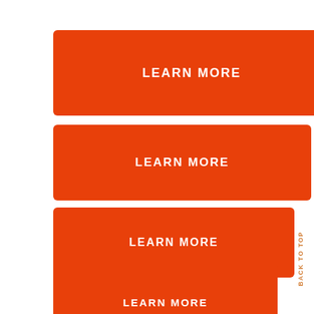[Figure (other): Orange button labeled LEARN MORE (largest, top)]
[Figure (other): Orange button labeled LEARN MORE (second)]
[Figure (other): Orange button labeled LEARN MORE (third)]
[Figure (other): Orange button labeled LEARN MORE (fourth, smallest orange)]
BACK TO TOP
[Figure (other): Dark/black button labeled LEARN MORE (fifth)]
[Figure (other): Dark/black button partially visible at bottom]